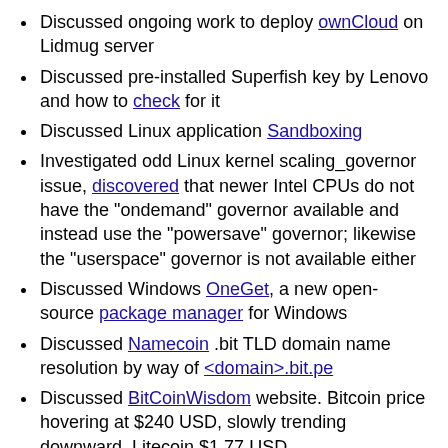Discussed ongoing work to deploy ownCloud on Lidmug server
Discussed pre-installed Superfish key by Lenovo and how to check for it
Discussed Linux application Sandboxing
Investigated odd Linux kernel scaling_governor issue, discovered that newer Intel CPUs do not have the "ondemand" governor available and instead use the "powersave" governor; likewise the "userspace" governor is not available either
Discussed Windows OneGet, a new open-source package manager for Windows
Discussed Namecoin .bit TLD domain name resolution by way of <domain>.bit.pe
Discussed BitCoinWisdom website. Bitcoin price hovering at $240 USD, slowly trending downward, Litecoin $1.77 USD
Tested running sshd on multiple ports, standard port does not work through lidmug.bit.pe proxy